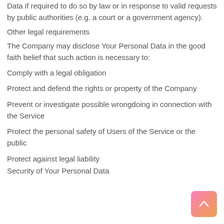Data if required to do so by law or in response to valid requests by public authorities (e.g. a court or a government agency).
Other legal requirements
The Company may disclose Your Personal Data in the good faith belief that such action is necessary to:
Comply with a legal obligation
Protect and defend the rights or property of the Company
Prevent or investigate possible wrongdoing in connection with the Service
Protect the personal safety of Users of the Service or the public
Protect against legal liability
Security of Your Personal Data